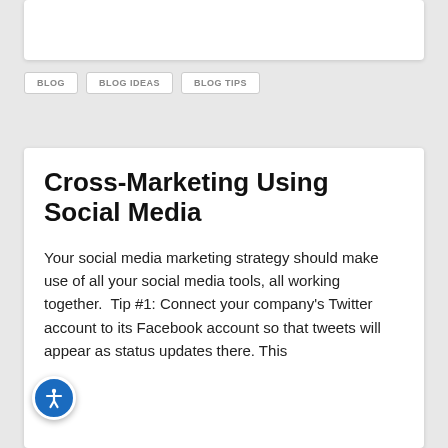[Figure (other): White card area at top of page]
BLOG
BLOG IDEAS
BLOG TIPS
Cross-Marketing Using Social Media
Your social media marketing strategy should make use of all your social media tools, all working together.  Tip #1: Connect your company's Twitter account to its Facebook account so that tweets will appear as status updates there. This